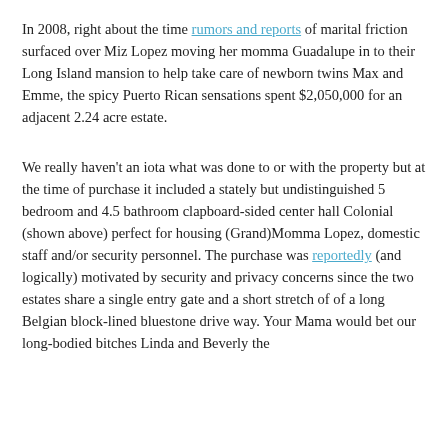In 2008, right about the time rumors and reports of marital friction surfaced over Miz Lopez moving her momma Guadalupe in to their Long Island mansion to help take care of newborn twins Max and Emme, the spicy Puerto Rican sensations spent $2,050,000 for an adjacent 2.24 acre estate.
We really haven't an iota what was done to or with the property but at the time of purchase it included a stately but undistinguished 5 bedroom and 4.5 bathroom clapboard-sided center hall Colonial (shown above) perfect for housing (Grand)Momma Lopez, domestic staff and/or security personnel. The purchase was reportedly (and logically) motivated by security and privacy concerns since the two estates share a single entry gate and a short stretch of of a long Belgian block-lined bluestone drive way. Your Mama would bet our long-bodied bitches Linda and Beverly the